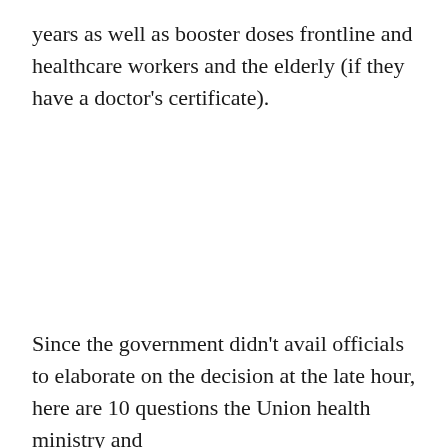years as well as booster doses frontline and healthcare workers and the elderly (if they have a doctor's certificate).
Since the government didn't avail officials to elaborate on the decision at the late hour, here are 10 questions the Union health ministry and